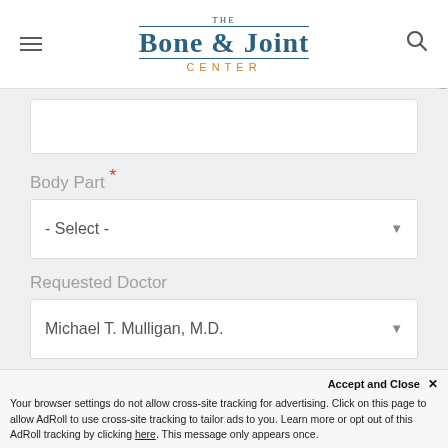[Figure (logo): The Bone & Joint Center logo with hamburger menu icon on left and search icon on right]
Body Part *
- Select -
Requested Doctor
Michael T. Mulligan, M.D.
Accept and Close ×
Your browser settings do not allow cross-site tracking for advertising. Click on this page to allow AdRoll to use cross-site tracking to tailor ads to you. Learn more or opt out of this AdRoll tracking by clicking here. This message only appears once.